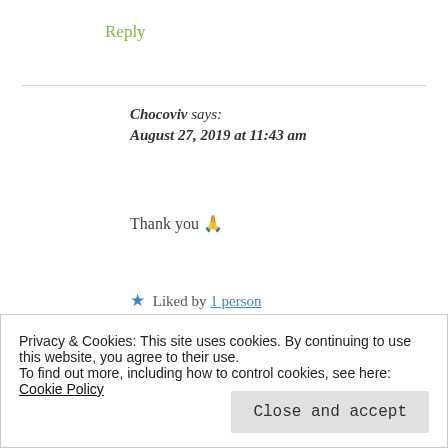Reply
Chocoviv says:
August 27, 2019 at 11:43 am
Thank you 🙏
★ Liked by 1 person
Reply
Privacy & Cookies: This site uses cookies. By continuing to use this website, you agree to their use.
To find out more, including how to control cookies, see here: Cookie Policy